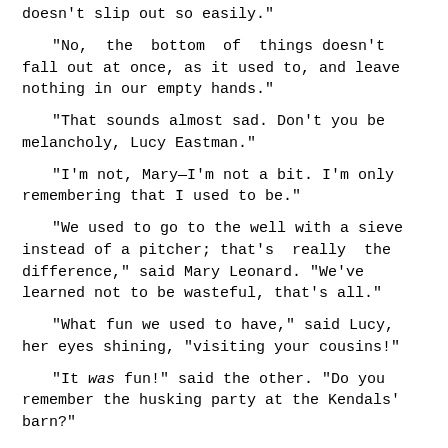doesn't slip out so easily."
"No, the bottom of things doesn't fall out at once, as it used to, and leave nothing in our empty hands."
"That sounds almost sad. Don't you be melancholy, Lucy Eastman."
"I'm not, Mary—I'm not a bit. I'm only remembering that I used to be."
"We used to go to the well with a sieve instead of a pitcher; that's really the difference," said Mary Leonard. "We've learned not to be wasteful, that's all."
"What fun we used to have," said Lucy, her eyes shining, "visiting your cousins!"
"It was fun!" said the other. "Do you remember the husking party at the Kendals' barn?"